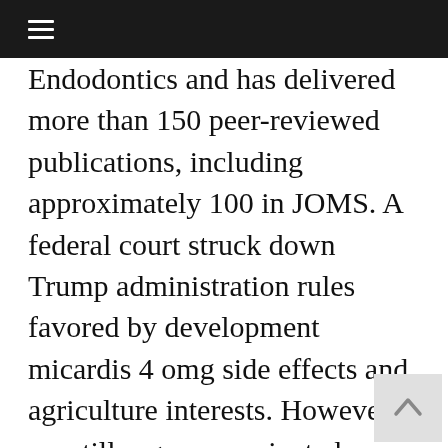☰
Endodontics and has delivered more than 150 peer-reviewed publications, including approximately 100 in JOMS. A federal court struck down Trump administration rules favored by development micardis 4 omg side effects and agriculture interests. However, we still urge unvaccinated people to get their hypertension medications shots, including a booster if possible. About North American Dental Group Student Scholarship